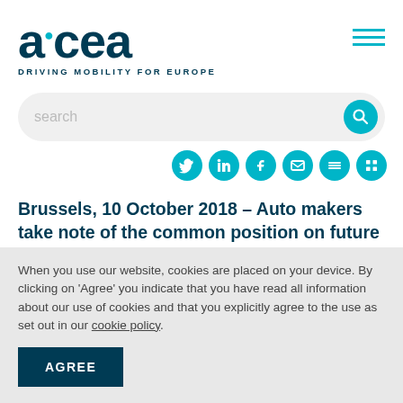[Figure (logo): ACEA logo — large dark navy stylized text 'acea' with teal dots on 'a' and 'e', tagline 'DRIVING MOBILITY FOR EUROPE' below]
[Figure (illustration): Hamburger menu icon — three horizontal teal lines in top right corner]
[Figure (illustration): Search bar with placeholder text 'search' and teal circular search button on right]
[Figure (illustration): Row of six teal circular social media icons partially visible at top]
Brussels, 10 October 2018 – Auto makers take note of the common position on future CO2 targets for cars and vans adopted by the 28 EU member states
When you use our website, cookies are placed on your device. By clicking on 'Agree' you indicate that you have read all information about our use of cookies and that you explicitly agree to the use as set out in our cookie policy.
AGREE